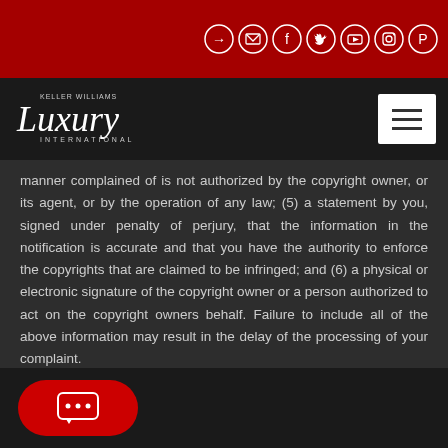Keller Williams Luxury International navigation bar with social icons
[Figure (logo): Keller Williams Luxury International logo in white script on dark background with hamburger menu button]
manner complained of is not authorized by the copyright owner, or its agent, or by the operation of any law; (5) a statement by you, signed under penalty of perjury, that the information in the notification is accurate and that you have the authority to enforce the copyrights that are claimed to be infringed; and (6) a physical or electronic signature of the copyright owner or a person authorized to act on the copyright owners behalf. Failure to include all of the above information may result in the delay of the processing of your complaint.
[Figure (illustration): Red rounded chat button with speech bubble dots icon at bottom left]